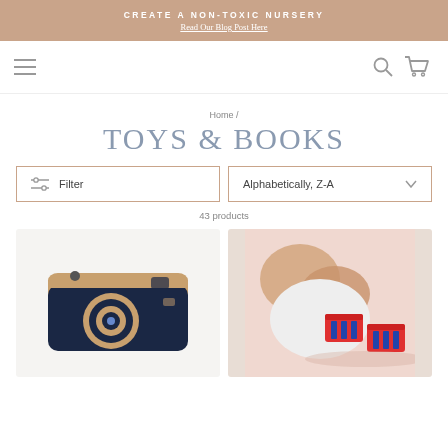CREATE A NON-TOXIC NURSERY
Read Our Blog Post Here
[Figure (screenshot): Navigation bar with hamburger menu on left and search/cart icons on right]
Home /
TOYS & BOOKS
Filter  |  Alphabetically, Z-A
43 products
[Figure (photo): Wooden toy camera with dark navy blue body and circular lens detail on a light background]
[Figure (photo): Child's hands playing with red and blue toy train/block pieces on a pink surface]